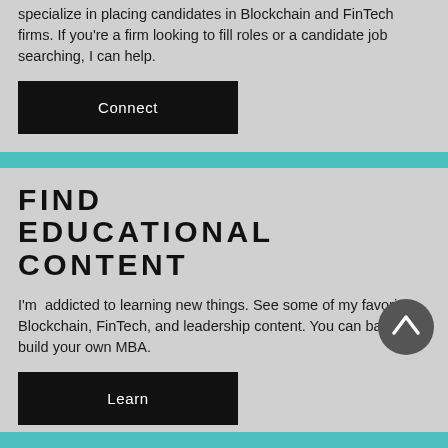specialize in placing candidates in Blockchain and FinTech firms. If you're a firm looking to fill roles or a candidate job searching, I can help.
Connect
FIND EDUCATIONAL CONTENT
I'm  addicted to learning new things. See some of my favorite Blockchain, FinTech, and leadership content. You can basically build your own MBA.
Learn